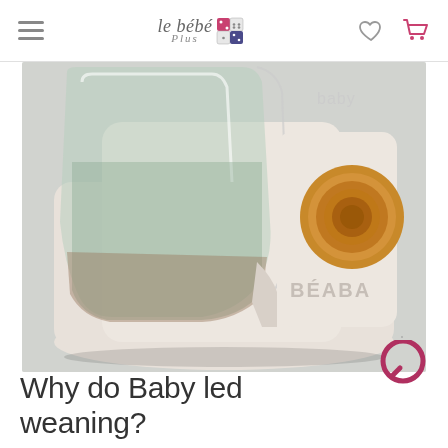le bébé Plus
[Figure (photo): Close-up photo of a BÉABA Babycook baby food maker/blender on a granite countertop. The device is white/cream colored with a transparent bowl/jar containing green-tinted contents, with a gold/orange circular dial control visible on the right side. The brand name BÉABA is visible on the body.]
Why do Baby led weaning?